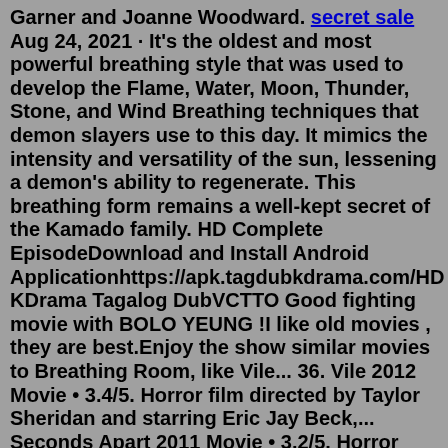Garner and Joanne Woodward. secret sale Aug 24, 2021 · It's the oldest and most powerful breathing style that was used to develop the Flame, Water, Moon, Thunder, Stone, and Wind Breathing techniques that demon slayers use to this day. It mimics the intensity and versatility of the sun, lessening a demon's ability to regenerate. This breathing form remains a well-kept secret of the Kamado family. HD Complete EpisodeDownload and Install Android Applicationhttps://apk.tagdubkdrama.com/HD KDrama Tagalog DubVCTTO Good fighting movie with BOLO YEUNG !I like old movies , they are best.Enjoy the show similar movies to Breathing Room, like Vile... 36. Vile 2012 Movie • 3.4/5. Horror film directed by Taylor Sheridan and starring Eric Jay Beck,... Seconds Apart 2011 Movie • 3.2/5. Horror film directed by Antonio Negret and starring Orlando Jones,... 3. Evidence 2012 Movie • 1.2/5. Breathing ( German: Atmen) is a 2011 Austrian art house drama film written and directed by Karl Markovics. [1] Th